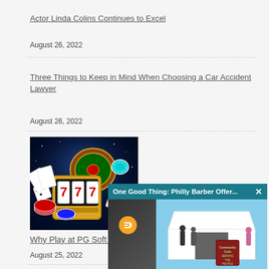Actor Linda Colins Continues to Excel
August 26, 2022
Three Things to Keep in Mind When Choosing a Car Accident Lawyer
August 26, 2022
[Figure (photo): Casino themed image showing slot machine with 777, roulette wheel, dice, and poker chips on a dark blue background]
[Figure (screenshot): Video popup overlay titled 'One Good Thing: Philly Barber Offer...' with teal header and close button, showing people standing outside a white tent with a sign reading 'Community Cuts Serving the People']
Why Play at PG Soft C...
August 25, 2022